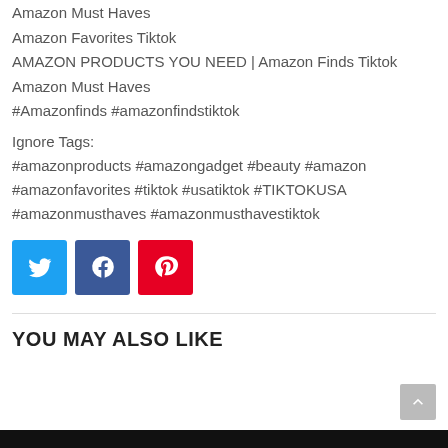Amazon Must Haves
Amazon Favorites Tiktok
AMAZON PRODUCTS YOU NEED | Amazon Finds Tiktok
Amazon Must Haves
#Amazonfinds #amazonfindstiktok
Ignore Tags:
#amazonproducts #amazongadget #beauty #amazon #amazonfavorites #tiktok #usatiktok #TIKTOKUSA #amazonmusthaves #amazonmusthavestiktok
[Figure (infographic): Social share buttons: Twitter (blue), Facebook (dark blue), Pinterest (red)]
YOU MAY ALSO LIKE